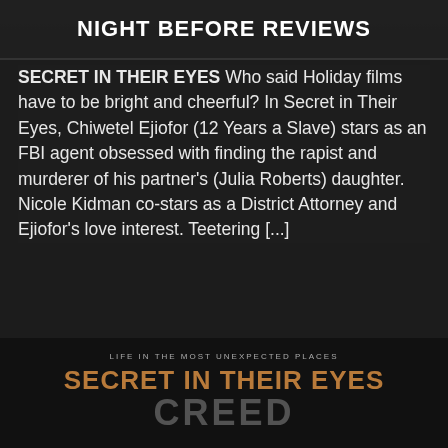NIGHT BEFORE REVIEWS
SECRET IN THEIR EYES Who said Holiday films have to be bright and cheerful? In Secret in Their Eyes, Chiwetel Ejiofor (12 Years a Slave) stars as an FBI agent obsessed with finding the rapist and murderer of his partner's (Julia Roberts) daughter. Nicole Kidman co-stars as a District Attorney and Ejiofor's love interest. Teetering [...]
Read More
[Figure (other): Movie poster for Secret in Their Eyes showing title text in brown/gold and the word CREED below in large grey letters on dark background]